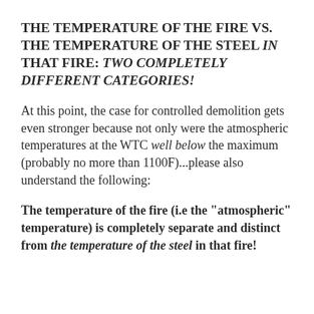THE TEMPERATURE OF THE FIRE VS. THE TEMPERATURE OF THE STEEL IN THAT FIRE: TWO COMPLETELY DIFFERENT CATEGORIES!
At this point, the case for controlled demolition gets even stronger because not only were the atmospheric temperatures at the WTC well below the maximum (probably no more than 1100F)...please also understand the following:
The temperature of the fire (i.e the "atmospheric" temperature) is completely separate and distinct from the temperature of the steel in that fire!